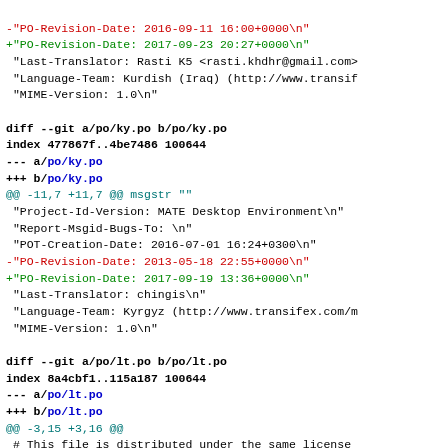diff --git a/po/ky.po b/po/ky.po
index 477867f..4be7486 100644
--- a/po/ky.po
+++ b/po/ky.po
@@ -11,7 +11,7 @@ msgstr ""
 "Project-Id-Version: MATE Desktop Environment\n"
 "Report-Msgid-Bugs-To: \n"
 "POT-Creation-Date: 2016-07-01 16:24+0300\n"
 -"PO-Revision-Date: 2013-05-18 22:55+0000\n"
 +"PO-Revision-Date: 2017-09-19 13:36+0000\n"
 "Last-Translator: chingis\n"
 "Language-Team: Kyrgyz (http://www.transifex.com/m
 "MIME-Version: 1.0\n"

diff --git a/po/lt.po b/po/lt.po
index 8a4cbf1..115a187 100644
--- a/po/lt.po
+++ b/po/lt.po
@@ -3,15 +3,16 @@
 # This file is distributed under the same license
 #
 # Translators:
 +# Džiugas Grėbliūnas <dziugas.grebliunas@gmail.com
 # Gintautas Miliauskas <gintas@akl.lt>, 2007, 2008